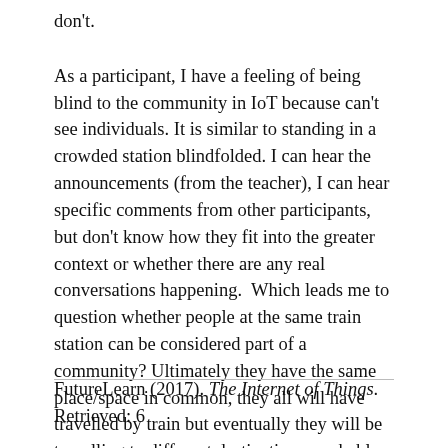don't.
As a participant, I have a feeling of being blind to the community in IoT because can't see individuals. It is similar to standing in a crowded station blindfolded. I can hear the announcements (from the teacher), I can hear specific comments from other participants, but don't know how they fit into the greater context or whether there are any real conversations happening.  Which leads me to question whether people at the same train station can be considered part of a community? Ultimately they have the same place/space in common, they all will have travelled by train but eventually they will be travelling to different destinations, probably with their headphones on and trying to avoid eye contact.
FutureLearn (2017). The Internet of Things. Retrieved: 6